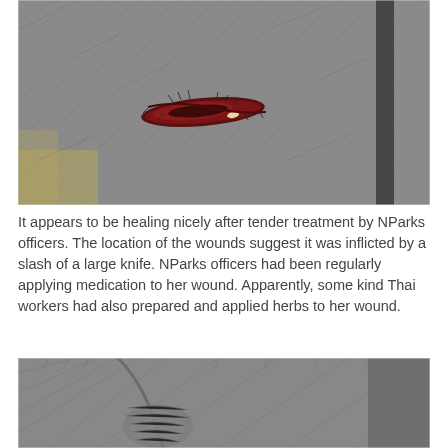[Figure (photo): Close-up photograph of an elephant's skin showing a dark red slash wound, approximately horizontal, with some discharge and black hairs around it. The elephant's grey wrinkled skin fills most of the frame. A darker stripe is visible on the right side.]
It appears to be healing nicely after tender treatment by NParks officers. The location of the wounds suggest it was inflicted by a slash of a large knife. NParks officers had been regularly applying medication to her wound. Apparently, some kind Thai workers had also prepared and applied herbs to her wound.
[Figure (photo): Close-up photograph of an elephant's leg/knee area showing grey wrinkled skin with fine hairs, showing the lower portion of the elephant's body and a joint area. The skin texture is detailed.]